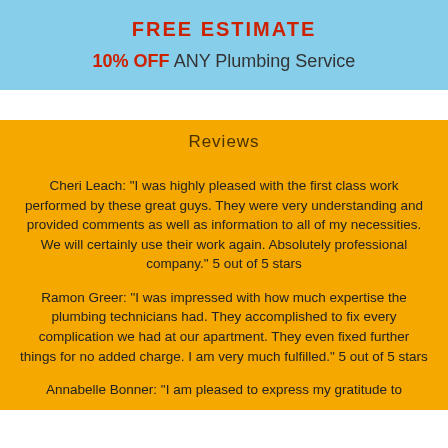FREE ESTIMATE
10% OFF ANY Plumbing Service
Reviews
Cheri Leach: "I was highly pleased with the first class work performed by these great guys. They were very understanding and provided comments as well as information to all of my necessities. We will certainly use their work again. Absolutely professional company." 5 out of 5 stars
Ramon Greer: "I was impressed with how much expertise the plumbing technicians had. They accomplished to fix every complication we had at our apartment. They even fixed further things for no added charge. I am very much fulfilled." 5 out of 5 stars
Annabelle Bonner: "I am pleased to express my gratitude to